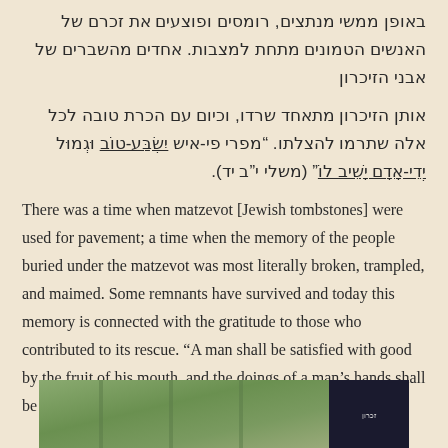באופן ממשי מנתצים, רומסים ופוצעים את זכרם של האנשים הטמונים מתחת למצבות. אחדים מהשברים של אבני הזיכרון
אותן הזיכרון מתאחד שרדו, וכיום עם הכרת טובה לכל אלה שתרמו להצלתו. "מפרי פי-איש ישבע-טוב וגמול ידי-אדם ישיב לו" (משלי י"ב יד).
There was a time when matzevot [Jewish tombstones] were used for pavement; a time when the memory of the people buried under the matzevot was most literally broken, trampled, and maimed. Some remnants have survived and today this memory is connected with the gratitude to those who contributed to its rescue. "A man shall be satisfied with good by the fruit of his mouth, and the doings of a man's hands shall be rendered unto him" (Prov. 12:14).
[Figure (photo): Partial view of green stone matzevot (Jewish tombstones) with a dark panel on the right side.]